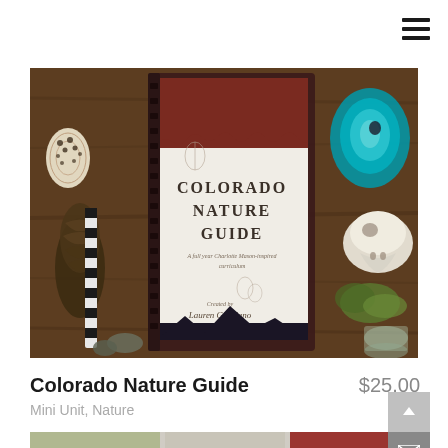[Figure (photo): A flatlay photo of a Colorado Nature Guide booklet/curriculum placed on a wooden surface, surrounded by natural objects including a pine cone, seashell, striped journal, teal agate slice, animal skull, moss, and rocks. The booklet cover reads 'COLORADO NATURE GUIDE – A full year Charlotte Mason-inspired curriculum. Created by Lauren Giordano.']
Colorado Nature Guide
$25.00
Mini Unit, Nature